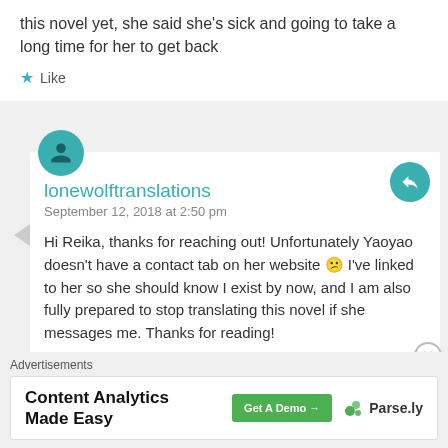this novel yet, she said she's sick and going to take a long time for her to get back
Like
lonewolftranslations
September 12, 2018 at 2:50 pm
Hi Reika, thanks for reaching out! Unfortunately Yaoyao doesn't have a contact tab on her website 😕 I've linked to her so she should know I exist by now, and I am also fully prepared to stop translating this novel if she messages me. Thanks for reading!
Like
Advertisements
[Figure (screenshot): Advertisement banner for Parse.ly: 'Content Analytics Made Easy' with a green 'Get A Demo →' button and Parse.ly logo]